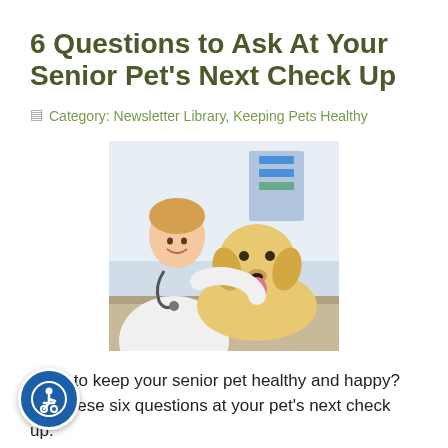6 Questions to Ask At Your Senior Pet's Next Check Up
Category: Newsletter Library, Keeping Pets Healthy
[Figure (photo): A female veterinarian in white coat with stethoscope smiling and hugging a golden Labrador dog on an exam table in a clinic.]
Want to keep your senior pet healthy and happy? Ask these six questions at your pet's next check up.
Read more
Put Some Teeth Into Your Pet's Dental Care